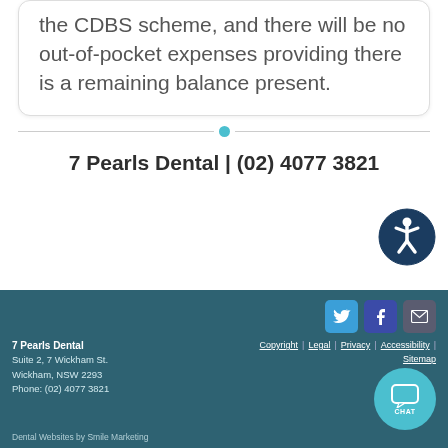the CDBS scheme, and there will be no out-of-pocket expenses providing there is a remaining balance present.
[Figure (illustration): Horizontal divider with a small teal circle in the center]
[Figure (illustration): Accessibility icon button – dark navy circle with wheelchair/person symbol]
7 Pearls Dental | (02) 4077 3821
7 Pearls Dental
Suite 2, 7 Wickham St.
Wickham, NSW 2293
Phone: (02) 4077 3821
Copyright | Legal | Privacy | Accessibility | Sitemap
Dental Websites by Smile Marketing